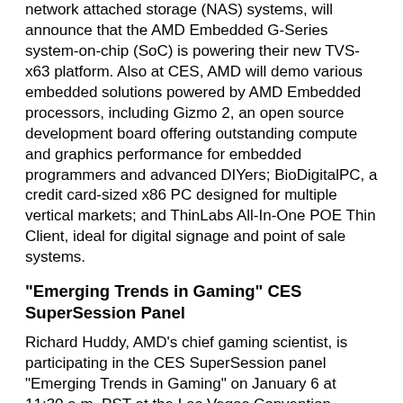network attached storage (NAS) systems, will announce that the AMD Embedded G-Series system-on-chip (SoC) is powering their new TVS-x63 platform. Also at CES, AMD will demo various embedded solutions powered by AMD Embedded processors, including Gizmo 2, an open source development board offering outstanding compute and graphics performance for embedded programmers and advanced DIYers; BioDigitalPC, a credit card-sized x86 PC designed for multiple vertical markets; and ThinLabs All-In-One POE Thin Client, ideal for digital signage and point of sale systems.
"Emerging Trends in Gaming" CES SuperSession Panel
Richard Huddy, AMD's chief gaming scientist, is participating in the CES SuperSession panel "Emerging Trends in Gaming" on January 6 at 11:30 a.m. PST at the Las Vegas Convention Center in the North Hall, room N258 where he and other industry luminaries will discuss the impact that virtual reality, free-to-play and mobile games are having on the global gaming business.
Supporting Resources
Read about all of AMD's CES news here